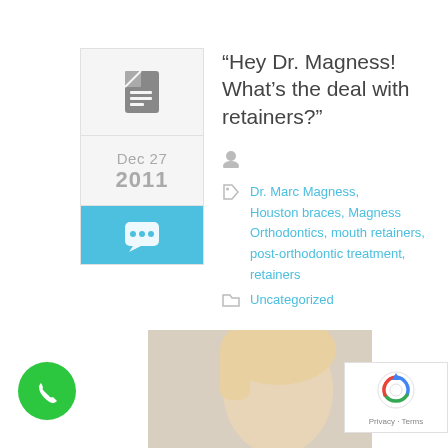[Figure (other): Blog post date card widget with document icon, date Dec 27 2011, and comment icon on teal background]
“Hey Dr. Magness! What’s the deal with retainers?”
Dr. Marc Magness, Houston braces, Magness Orthodontics, mouth retainers, post-orthodontic treatment, retainers
Uncategorized
[Figure (photo): Photo of a young blonde woman tilting her head back and smiling]
[Figure (other): Green circular phone/call button icon]
[Figure (other): reCAPTCHA Privacy - Terms badge]